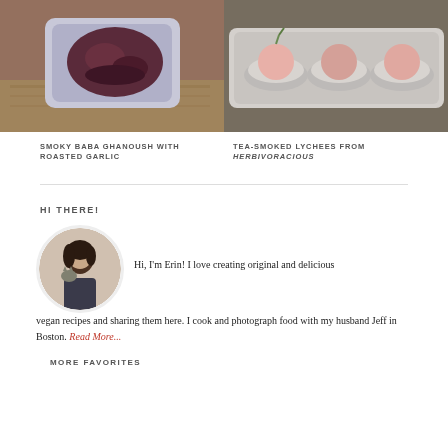[Figure (photo): Photo of roasted eggplant/garlic in a white square bowl on a wooden surface]
[Figure (photo): Photo of three lychees in small white bowls on a rectangular white plate on a bamboo mat]
SMOKY BABA GHANOUSH WITH ROASTED GARLIC
TEA-SMOKED LYCHEES FROM HERBIVORACIOUS
HI THERE!
[Figure (photo): Circular avatar photo of a woman with dark hair holding a cat]
Hi, I'm Erin! I love creating original and delicious vegan recipes and sharing them here. I cook and photograph food with my husband Jeff in Boston. Read More...
MORE FAVORITES